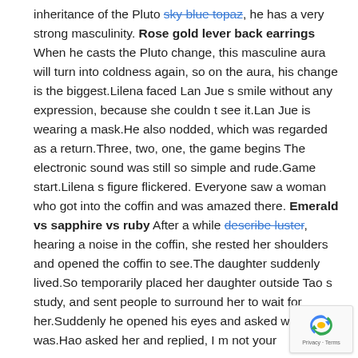inheritance of the Pluto sky blue topaz [strikethrough], he has a very strong masculinity. Rose gold lever back earrings When he casts the Pluto change, this masculine aura will turn into coldness again, so on the aura, his change is the biggest.Lilena faced Lan Jue s smile without any expression, because she couldn t see it.Lan Jue is wearing a mask.He also nodded, which was regarded as a return.Three, two, one, the game begins The electronic sound was still so simple and rude.Game start.Lilena s figure flickered. Everyone saw a woman who got into the coffin and was amazed there. Emerald vs sapphire vs ruby After a while describe luster [strikethrough], hearing a noise in the coffin, she rested her shoulders and opened the coffin to see.The daughter suddenly lived.So temporarily placed her daughter outside Tao s study, and sent people to surround her to wait for her.Suddenly he opened his eyes and asked whe Tao was.Hao asked her and replied, I m not your